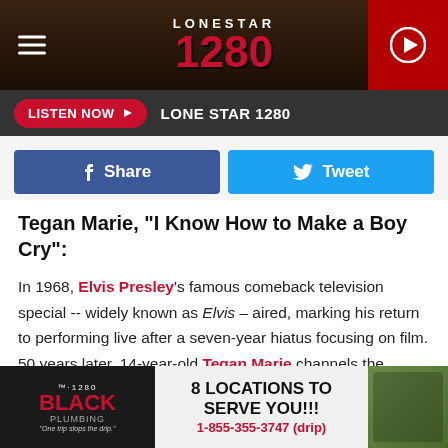LONESTAR 1280
LISTEN NOW   LONE STAR 1280
Share   Tweet
Tegan Marie, "I Know How to Make a Boy Cry":
In 1968, Elvis Presley's famous comeback television special -- widely known as Elvis – aired, marking his return to performing live after a seven-year hiatus focusing on film. 50 years later, 14-year-old Tegan Marie channels the singer's iconic Elvis – from her outfits to scene setups – for her "I Know How to Make a Boy Cry" music video.
[Figure (other): Black Plumbing advertisement banner: 8 LOCATIONS TO SERVE YOU!!! 1-855-355-3747 (drip)]